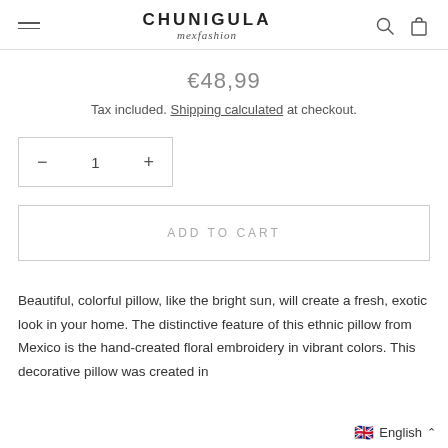CHUNIGULA mexfashion
€48,99
Tax included. Shipping calculated at checkout.
— 1 +
ADD TO CART
Beautiful, colorful pillow, like the bright sun, will create a fresh, exotic look in your home. The distinctive feature of this ethnic pillow from Mexico is the hand-created floral embroidery in vibrant colors. This decorative pillow was created in
🇬🇧 English ^